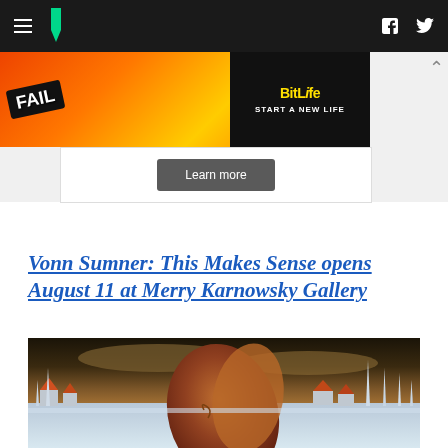Huffington Post navigation bar with hamburger menu, logo, Facebook and Twitter icons
[Figure (screenshot): BitLife advertisement banner: FAIL image with cartoon character and flames, BitLife logo, START A NEW LIFE text]
Learn more
Vonn Sumner: This Makes Sense opens August 11 at Merry Karnowsky Gallery
[Figure (photo): Painting by Vonn Sumner showing surreal winter landscape with brown swirling organic forms, small houses with pointed roofs, tall white spires, and dramatic cloudy sky]